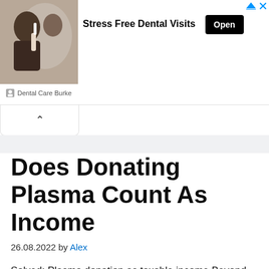[Figure (photo): Advertisement banner showing a person looking in a mirror brushing teeth, with text 'Stress Free Dental Visits' and an 'Open' button, branded as Dental Care Burke]
Does Donating Plasma Count As Income
26.08.2022 by Alex
Solved: Plasma donation as taxable income Beyond the physical risks of donating, many are concerned about whether or not